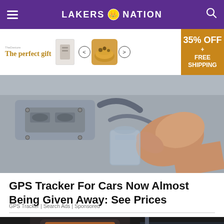LAKERS NATION
[Figure (photo): Advertisement banner with text 'The perfect gift', 35% OFF + FREE SHIPPING, showing a bowl of food]
[Figure (photo): Close-up photo of a hand near a car engine / GPS tracker installation]
GPS Tracker For Cars Now Almost Being Given Away: See Prices
GPS Tracker | Search Ads | Sponsored
[Figure (photo): Photo of a woman in a body contouring machine / spa device]